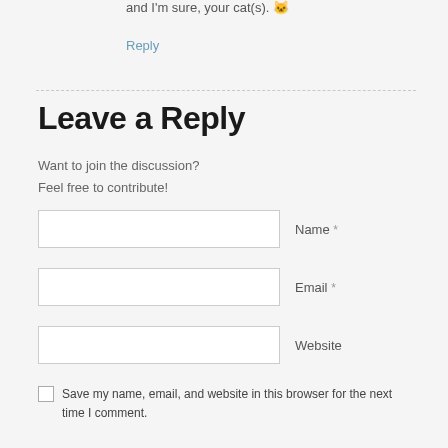and I'm sure, your cat(s). 🐱
Reply
Leave a Reply
Want to join the discussion?
Feel free to contribute!
Name *
Email *
Website
Save my name, email, and website in this browser for the next time I comment.